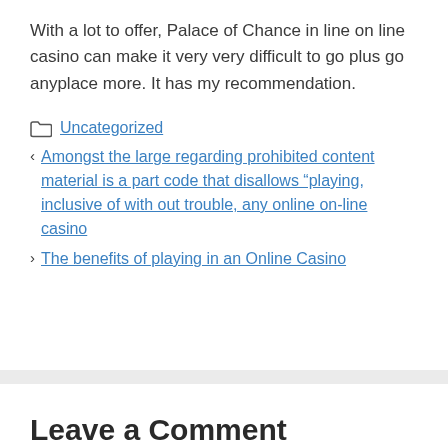With a lot to offer, Palace of Chance in line on line casino can make it very very difficult to go plus go anyplace more. It has my recommendation.
Uncategorized
Amongst the large regarding prohibited content material is a part code that disallows “playing, inclusive of with out trouble, any online on-line casino
The benefits of playing in an Online Casino
Leave a Comment